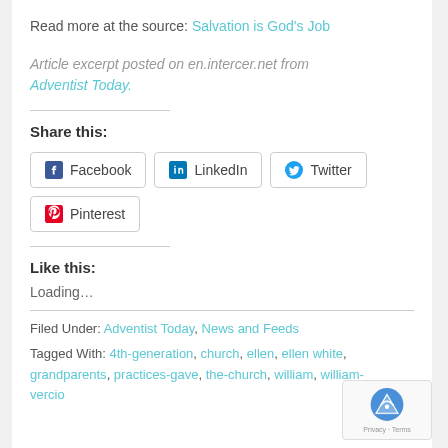Read more at the source: Salvation is God's Job
Article excerpt posted on en.intercer.net from Adventist Today.
Share this:
Facebook  LinkedIn  Twitter  Pinterest
Like this:
Loading...
Filed Under: Adventist Today, News and Feeds
Tagged With: 4th-generation, church, ellen, ellen white, grandparents, practices-gave, the-church, william, william-vercio